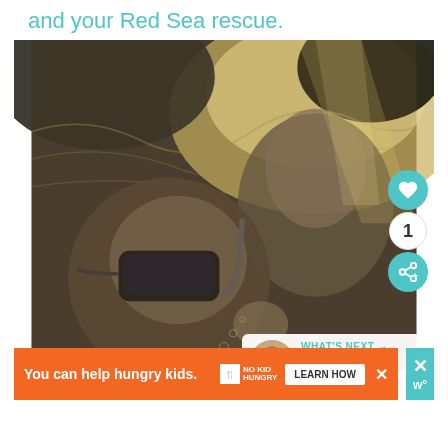and your Red Sea rescue.
[Figure (photo): Underwater photo of two people snorkeling/diving with masks, taken from below the water surface with light filtering through.]
WHAT'S NEXT → The Perfect Winter...
You can help hungry kids. NO KID HUNGRY LEARN HOW